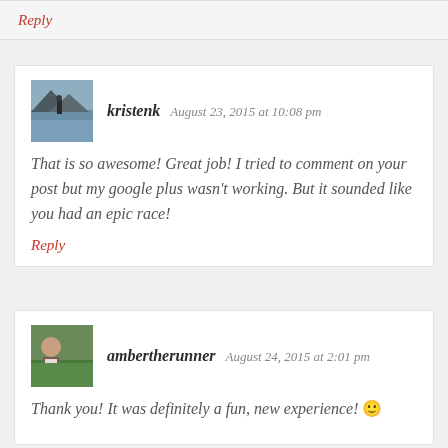Reply
kristenk   August 23, 2015 at 10:08 pm
That is so awesome! Great job! I tried to comment on your post but my google plus wasn't working. But it sounded like you had an epic race!
Reply
ambertherunner   August 24, 2015 at 2:01 pm
Thank you! It was definitely a fun, new experience! 🙂